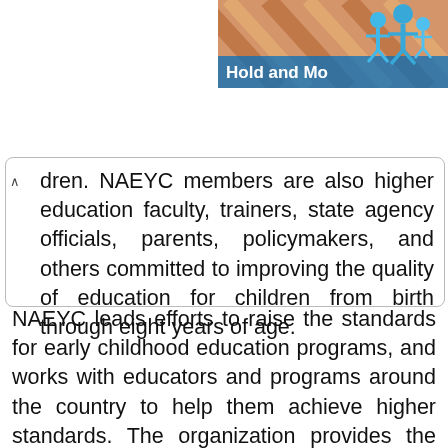[Figure (illustration): Header graphic with diagonal striped background in tan/orange tones, blue human figures icon, and 'Hold and Mo' label partially visible]
dren. NAEYC members are also higher education faculty, trainers, state agency officials, parents, policymakers, and others committed to improving the quality of education for children from birth through eight years of age.
NAEYC leads efforts to raise the standards for early childhood education programs, and works with educators and programs around the country to help them achieve higher standards. The organization provides the following services aimed toward these goals: